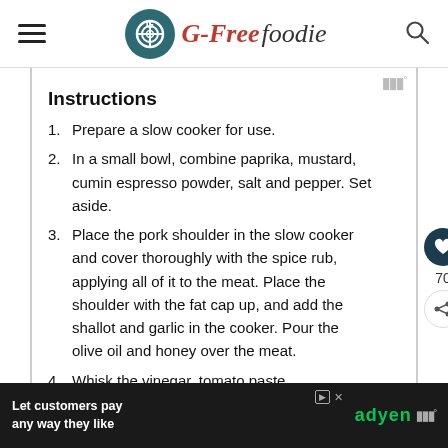G-Free Foodie
Instructions
Prepare a slow cooker for use.
In a small bowl, combine paprika, mustard, cumin espresso powder, salt and pepper. Set aside.
Place the pork shoulder in the slow cooker and cover thoroughly with the spice rub, applying all of it to the meat. Place the shoulder with the fat cap up, and add the shallot and garlic in the cooker. Pour the olive oil and honey over the meat.
Whisk the vinegar, tomato paste, Worcestershire and soy sauce together, and pour it into the bottom of the slow cooker. Put the lid on the cooker, set to